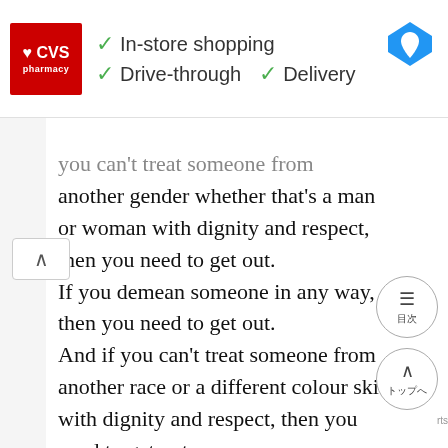[Figure (screenshot): CVS Pharmacy advertisement banner showing In-store shopping, Drive-through, and Delivery options with checkmarks, CVS logo, and a map navigation icon]
you can't treat someone from another gender whether that's a man or woman with dignity and respect, then you need to get out. If you demean someone in any way, then you need to get out. And if you can't treat someone from another race or a different colour skin with dignity and respect, then you need to get out.
Reach for your phones. I'm serious...